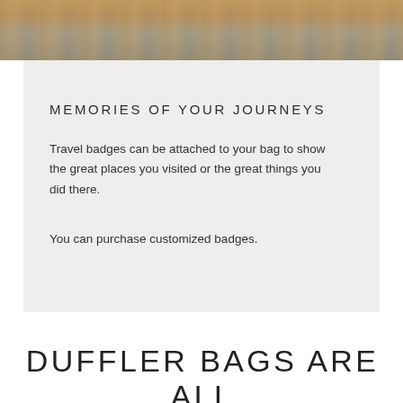[Figure (photo): Partial photo of a duffel bag on a textured surface, showing khaki/tan fabric and grey background]
MEMORIES OF YOUR JOURNEYS
Travel badges can be attached to your bag to show the great places you visited or the great things you did there.
You can purchase customized badges.
DUFFLER BAGS ARE ALL